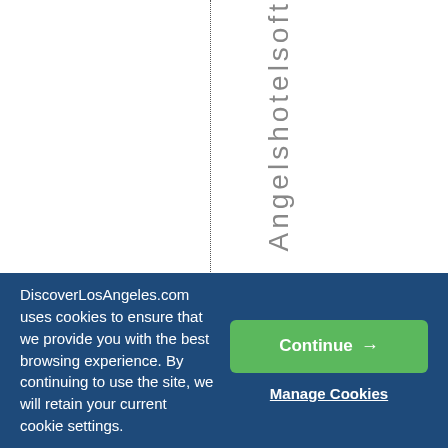[Figure (screenshot): White webpage area with a vertical dotted line on the left side and vertically oriented text reading 'Angelshotels off...' along the right portion, displayed character by character top to bottom]
DiscoverLosAngeles.com uses cookies to ensure that we provide you with the best browsing experience. By continuing to use the site, we will retain your current cookie settings.
Continue →
Manage Cookies